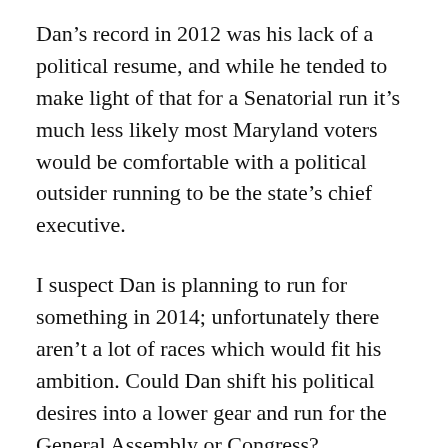Dan’s record in 2012 was his lack of a political resume, and while he tended to make light of that for a Senatorial run it’s much less likely most Maryland voters would be comfortable with a political outsider running to be the state’s chief executive.
I suspect Dan is planning to run for something in 2014; unfortunately there aren’t a lot of races which would fit his ambition. Could Dan shift his political desires into a lower gear and run for the General Assembly or Congress? Obviously he could bring a lot of firepower to such a race, but there’s also the aspect of whether he would make another run in 2016 for a Senate seat which may be vacated if